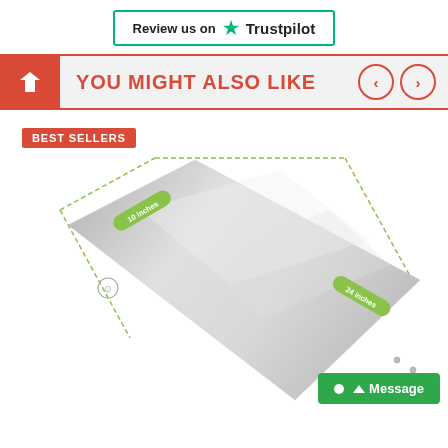[Figure (logo): Trustpilot review badge with green star icon and 'Review us on Trustpilot' text inside a teal-bordered box]
YOU MIGHT ALSO LIKE
[Figure (photo): Product image of a rectangular mirrored/metallic panel shown at an angle with green dimension labels showing '10 inches' and '24 inches', with a 'BEST SELLERS' red badge]
Message